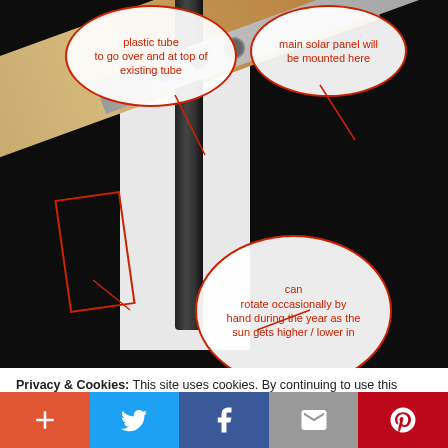[Figure (photo): Photo of a DIY solar panel mount showing a wooden plank with a metal bracket attached diagonally, a black tube in the background, and a white card. Annotated with red ellipses and lines indicating: 'plastic tube to go over and at top of existing tube', 'main solar panel will be mounted here', and 'can rotate occasionally by hand during the year as the sun gets higher / lower in'. A red rectangle annotation is also drawn on the left side of the image.]
Privacy & Cookies: This site uses cookies. By continuing to use this website, you agree to their use.
To find out more, including how to control cookies, see here: Cookie Policy